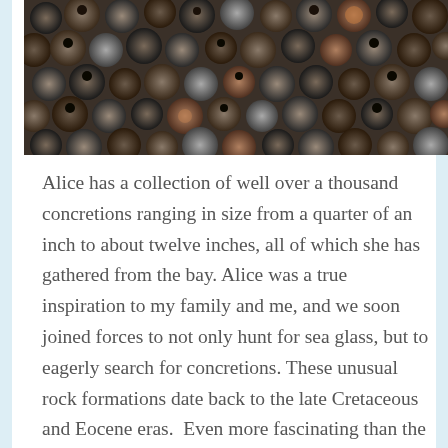[Figure (photo): Close-up photograph of many small dark round concretions/rocks piled together, showing varied textures including holes and rough surfaces, in dark grey, brown, and muted tones.]
Alice has a collection of well over a thousand concretions ranging in size from a quarter of an inch to about twelve inches, all of which she has gathered from the bay. Alice was a true inspiration to my family and me, and we soon joined forces to not only hunt for sea glass, but to eagerly search for concretions. These unusual rock formations date back to the late Cretaceous and Eocene eras.  Even more fascinating than the “pop rocks” are tubular rocks. The tubular concretions are iron oxide formations that reflect a pipe-like structure.
When we go exploring along our nearby beach, Alice,